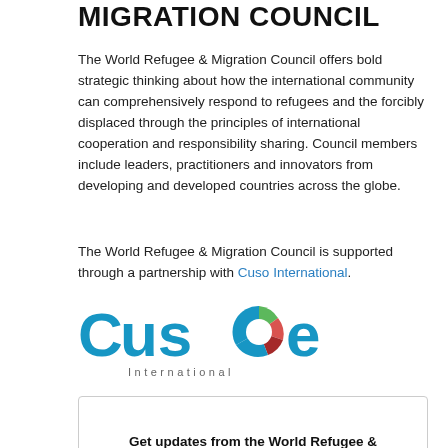MIGRATION COUNCIL
The World Refugee & Migration Council offers bold strategic thinking about how the international community can comprehensively respond to refugees and the forcibly displaced through the principles of international cooperation and responsibility sharing. Council members include leaders, practitioners and innovators from developing and developed countries across the globe.
The World Refugee & Migration Council is supported through a partnership with Cuso International.
[Figure (logo): Cuso International logo — large teal 'Cuso' wordmark with a colorful circular icon replacing the 'o', and 'International' in spaced grey letters below]
Get updates from the World Refugee &